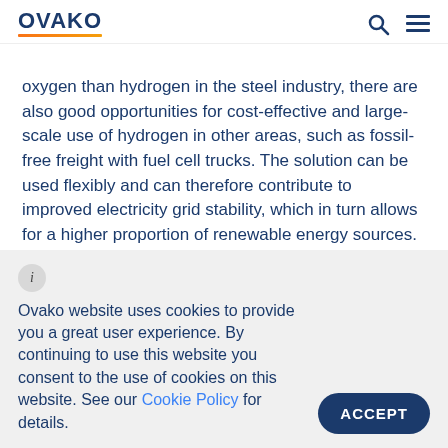OVAKO
oxygen than hydrogen in the steel industry, there are also good opportunities for cost-effective and large-scale use of hydrogen in other areas, such as fossil-free freight with fuel cell trucks. The solution can be used flexibly and can therefore contribute to improved electricity grid stability, which in turn allows for a higher proportion of renewable energy sources. Furthermore, the residual heat can be utilized in
Ovako website uses cookies to provide you a great user experience. By continuing to use this website you consent to the use of cookies on this website. See our Cookie Policy for details.